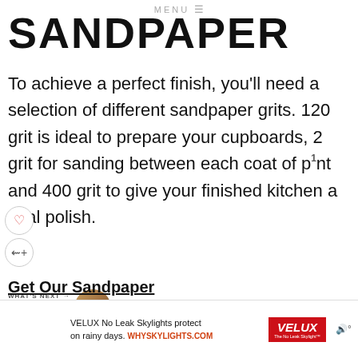MENU
SANDPAPER
To achieve a perfect finish, you'll need a selection of different sandpaper grits. 120 grit is ideal to prepare your cupboards, 240 grit for sanding between each coat of paint and 400 grit to give your finished kitchen a final polish.
Get Our Sandpaper
[Figure (screenshot): VELUX No Leak Skylights advertisement banner with image of skylights, text 'VELUX No Leak Skylights protect on rainy days. WHYSKYLIGHTS.COM', VELUX red logo, and speaker icon]